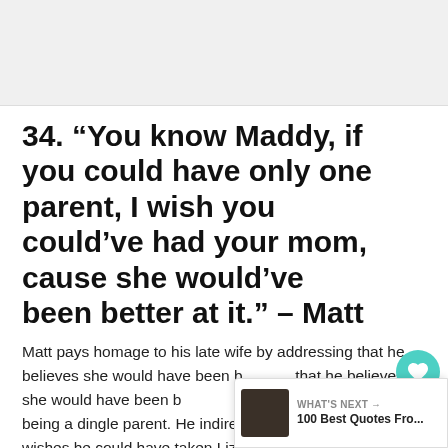[Figure (other): Gray placeholder image area at top of page]
34. “You know Maddy, if you could have only one parent, I wish you could’ve had your mom, cause she would’ve been better at it.” – Matt
Matt pays homage to his late wife by addressing that he believes she would have been better at being a dingle parent. He indirectly states that he wishes he could have taken Liz’s place.